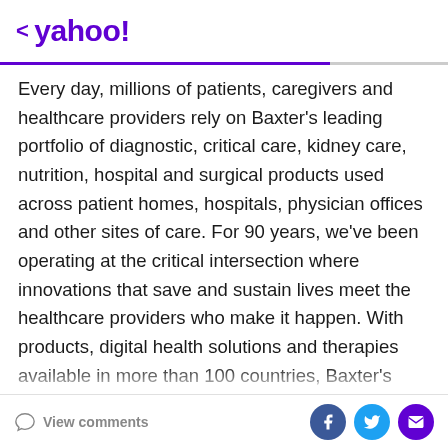< yahoo!
Every day, millions of patients, caregivers and healthcare providers rely on Baxter's leading portfolio of diagnostic, critical care, kidney care, nutrition, hospital and surgical products used across patient homes, hospitals, physician offices and other sites of care. For 90 years, we've been operating at the critical intersection where innovations that save and sustain lives meet the healthcare providers who make it happen. With products, digital health solutions and therapies available in more than 100 countries, Baxter's employees worldwide are now building upon the company's rich heritage of medical breakthroughs to advance the next generation of transformative healthcare innovations. To learn more
View comments